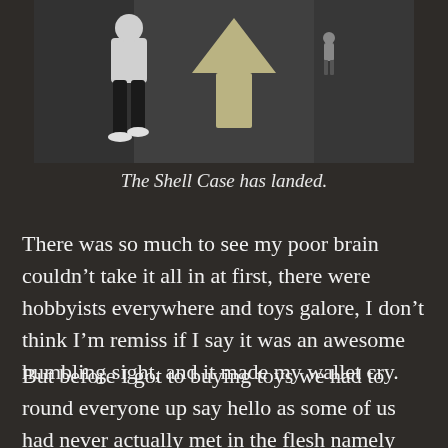[Figure (photo): A person walking across a dark asphalt surface with a large white arrow painted on the ground pointing upward/forward.]
The Shell Case has landed.
There was so much to see my poor brain couldn’t take it all in at first, there were hobbyists everywhere and toys galore, I don’t think I’m remiss if I say it was an awesome humbling sight, and it made my wallet cry.
But before I got to buying toys we had to round everyone up say hello as some of us had never actually met in the flesh namely Rob and Becca, it was great to finally meet thee guys, it